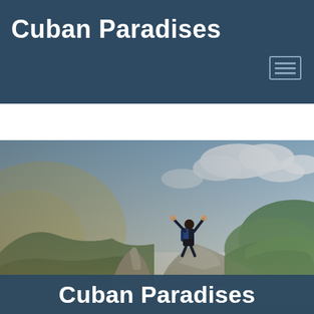Cuban Paradises
[Figure (photo): A hiker with a backpack standing on a rocky mountaintop with arms raised in triumph, overlooking a green valley with dramatic sky and clouds. The left side has a warm golden haze while the right side shows blue sky with white clouds and green rolling hills.]
Cuban Paradises